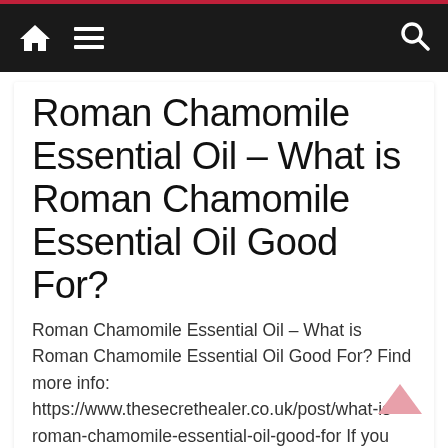Navigation bar with home icon, menu icon, and search icon
Roman Chamomile Essential Oil – What is Roman Chamomile Essential Oil Good For?
Roman Chamomile Essential Oil – What is Roman Chamomile Essential Oil Good For? Find more info: https://www.thesecrethealer.co.uk/post/what-is-roman-chamomile-essential-oil-good-for If you are